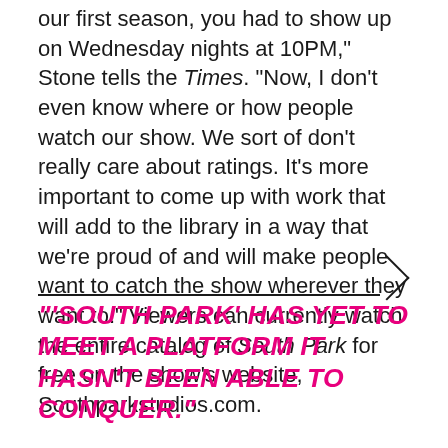our first season, you had to show up on Wednesday nights at 10PM," Stone tells the Times. "Now, I don't even know where or how people watch our show. We sort of don't really care about ratings. It's more important to come up with work that will add to the library in a way that we're proud of and will make people want to catch the show wherever they want to." Viewers can currently watch the entire catalog of South Park for free on the show's website, Southparkstudios.com.
"'SOUTH PARK' HAS YET TO MEET A PLATFORM IT HASN'T BEEN ABLE TO CONQUER."